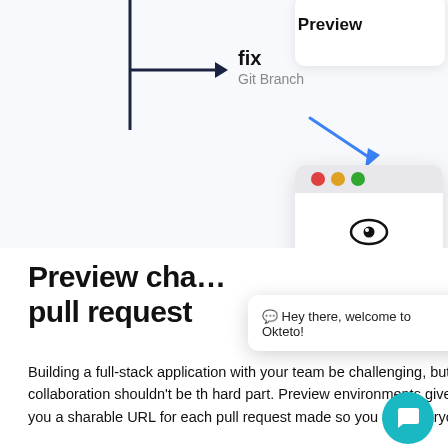[Figure (screenshot): Illustration showing a Git branch labeled 'fix' with a dark arrow pointing to it, and a blue arrow pointing to a browser preview window with traffic light dots (red, orange, green) and an eye icon labeled 'Preview'. A partial second Preview card is visible at top right.]
Preview cha… pull request
[Figure (screenshot): Chat popup overlay: text 'Hey there, welcome to Okteto!' with an X close button and a teal chat button in the bottom right corner.]
Building a full-stack application with your team be challenging, but collaboration shouldn't be th hard part. Preview environments give you a sharable URL for each pull request made so you and everyone